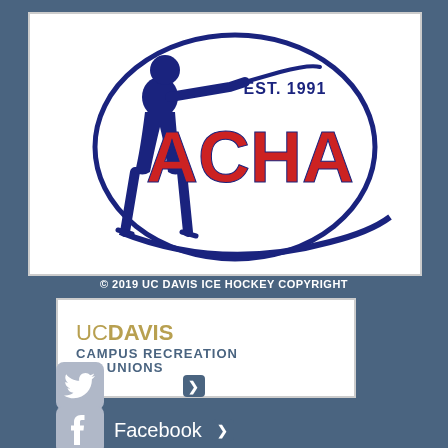[Figure (logo): ACHA logo with hockey player silhouette, EST. 1991 text, and red ACHA letters in blue circular design]
© 2019 UC DAVIS ICE HOCKEY COPYRIGHT
[Figure (logo): UC Davis Campus Recreation and Unions logo with gold UC DAVIS text and blue subtitle]
Twitter ❯
Facebook ❯